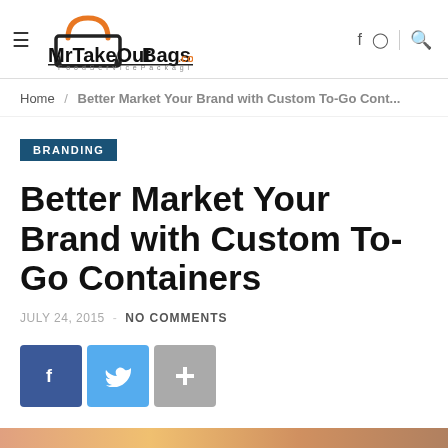MrTakeOutBags.com — Food Service Packaging
Home / Better Market Your Brand with Custom To-Go Cont...
BRANDING
Better Market Your Brand with Custom To-Go Containers
JULY 24, 2015 - NO COMMENTS
[Figure (other): Social share buttons: Facebook (blue), Twitter (light blue), Plus/More (gray)]